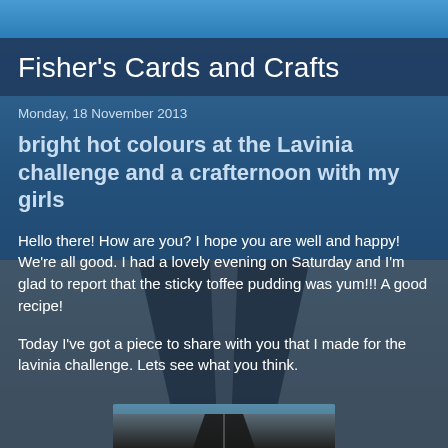Fisher's Cards and Crafts
Monday, 18 November 2013
bright hot colours at the Lavinia challenge and a crafternoon with my girls
Hello there! How are you? I hope you are well and happy! We're all good. I had a lovely evening on Saturday and I'm glad to report that the sticky toffee pudding was yum!!! A good recipe!
Today I've got a piece to share with you that I made for the lavinia challenge. Lets see what you think.
[Figure (photo): Partial view of a road photo thumbnail at the bottom of the page]